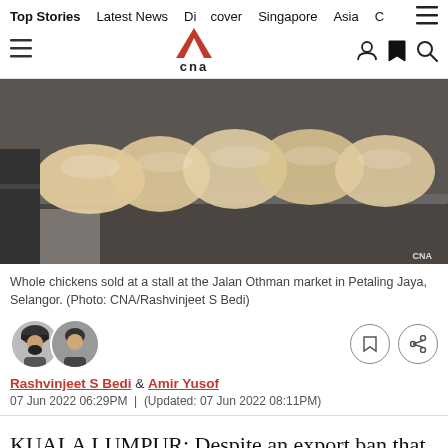Top Stories | Latest News | Discover | Singapore | Asia | C
[Figure (photo): Packaged whole chickens wrapped in plastic on a metal rack at a market stall]
Whole chickens sold at a stall at the Jalan Othman market in Petaling Jaya, Selangor. (Photo: CNA/Rashvinjeet S Bedi)
Rashvinjeet S Bedi & Amir Yusof
07 Jun 2022 06:29PM | (Updated: 07 Jun 2022 08:11PM)
KUALA LUMPUR: Despite an export ban that took